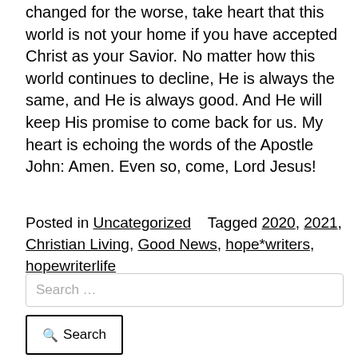changed for the worse, take heart that this world is not your home if you have accepted Christ as your Savior. No matter how this world continues to decline, He is always the same, and He is always good. And He will keep His promise to come back for us. My heart is echoing the words of the Apostle John: Amen. Even so, come, Lord Jesus!
Posted in Uncategorized   Tagged 2020, 2021, Christian Living, Good News, hope*writers, hopewriterlife
Search ...
Search
MICHELLEELAINEBURTON
Helping women have a consistent, daily time with God in